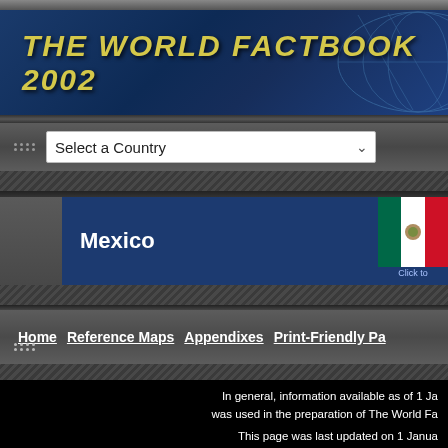THE WORLD FACTBOOK 2002
Select a Country
Mexico
Click to
Home   Reference Maps   Appendixes   Print-Friendly Pa
In general, information available as of 1 Ja was used in the preparation of The World Fa
This page was last updated on 1 Janua